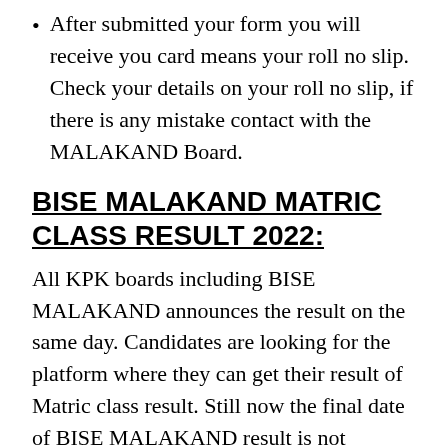After submitted your form you will receive you card means your roll no slip. Check your details on your roll no slip, if there is any mistake contact with the MALAKAND Board.
BISE MALAKAND MATRIC CLASS RESULT 2022:
All KPK boards including BISE MALAKAND announces the result on the same day. Candidates are looking for the platform where they can get their result of Matric class result. Still now the final date of BISE MALAKAND result is not announce. But in last meeting the final date of releasing the Matric class result is September 2022. For more updates keep visit our site.
Matric class result is still under processing and the